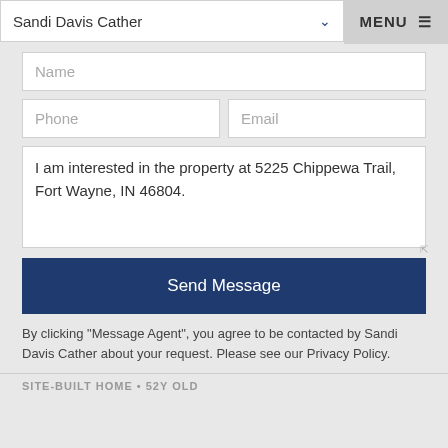Sandi Davis Cather | MENU
Name
Phone | Email
I am interested in the property at 5225 Chippewa Trail, Fort Wayne, IN 46804.
Send Message
By clicking "Message Agent", you agree to be contacted by Sandi Davis Cather about your request. Please see our Privacy Policy.
SITE-BUILT HOME • 52Y OLD